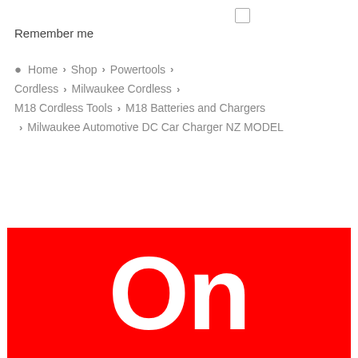Remember me
Home > Shop > Powertools > Cordless > Milwaukee Cordless > M18 Cordless Tools > M18 Batteries and Chargers > Milwaukee Automotive DC Car Charger NZ MODEL
[Figure (logo): Red banner with large white bold text reading 'On']